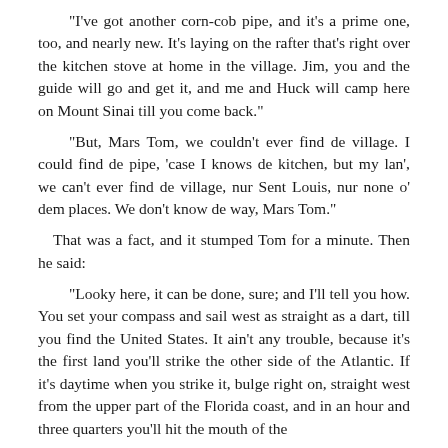“I’ve got another corn-cob pipe, and it’s a prime one, too, and nearly new. It’s laying on the rafter that’s right over the kitchen stove at home in the village. Jim, you and the guide will go and get it, and me and Huck will camp here on Mount Sinai till you come back.”
“But, Mars Tom, we couldn’t ever find de village. I could find de pipe, ‘case I knows de kitchen, but my lan’, we can’t ever find de village, nur Sent Louis, nur none o’ dem places. We don’t know de way, Mars Tom.”
That was a fact, and it stumped Tom for a minute. Then he said:
“Looky here, it can be done, sure; and I’ll tell you how. You set your compass and sail west as straight as a dart, till you find the United States. It ain’t any trouble, because it’s the first land you’ll strike the other side of the Atlantic. If it’s daytime when you strike it, bulge right on, straight west from the upper part of the Florida coast, and in an hour and three quarters you’ll hit the mouth of the